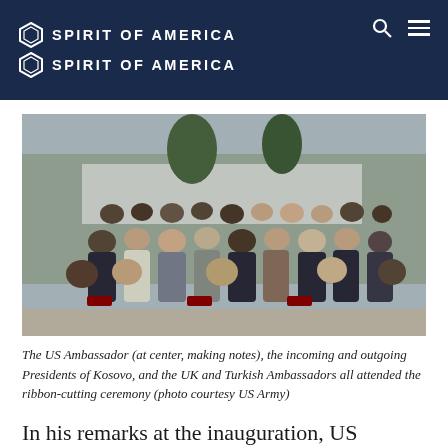SPIRIT OF AMERICA (x2 logo rows)
[Figure (photo): Outdoor ceremony with rows of seated attendees including dignitaries, in front of a white iron fence with buildings visible in background.]
The US Ambassador (at center, making notes), the incoming and outgoing Presidents of Kosovo, and the UK and Turkish Ambassadors all attended the ribbon-cutting ceremony (photo courtesy US Army)
In his remarks at the inauguration, US Ambassador Delawie said...